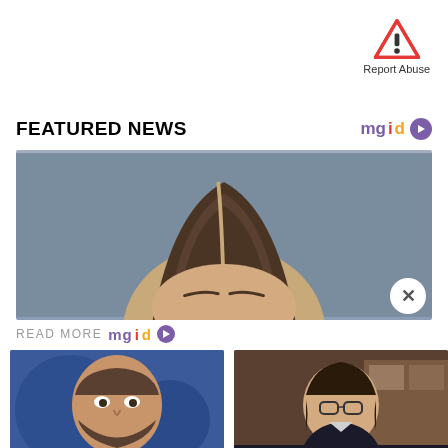[Figure (illustration): Red triangle warning/exclamation icon with Report Abuse label]
FEATURED NEWS
[Figure (photo): Close-up photo of top of a person's head showing hair parting, gray background]
READ MORE mgid
[Figure (photo): Photo of a bearded man in a striped shirt]
A Few Years Ago, Sandler's Career Was Falling Apart
[Figure (photo): Photo of a young woman with glasses and long dark hair]
Where The Cast Of Freaks And Geeks Is Today